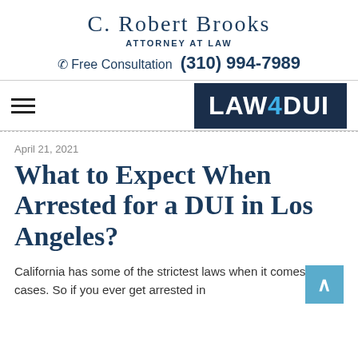C. Robert Brooks
ATTORNEY AT LAW
☎ Free Consultation  (310) 994-7989
[Figure (logo): LAW4DUI logo — dark navy background with white text 'LAW' and 'DUI' and blue '4']
April 21, 2021
What to Expect When Arrested for a DUI in Los Angeles?
California has some of the strictest laws when it comes to DUI cases. So if you ever get arrested in